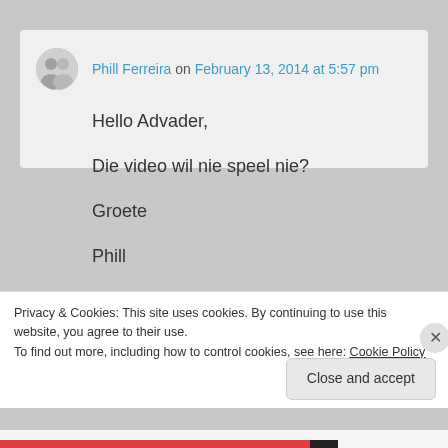Phill Ferreira on February 13, 2014 at 5:57 pm
Hello Advader,

Die video wil nie speel nie?

Groete

Phill
★ Like
Privacy & Cookies: This site uses cookies. By continuing to use this website, you agree to their use.
To find out more, including how to control cookies, see here: Cookie Policy